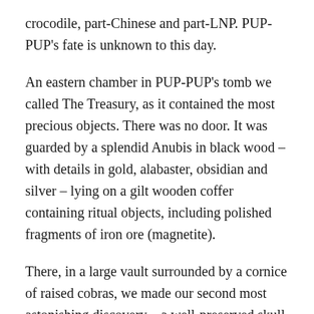crocodile, part-Chinese and part-LNP. PUP-PUP's fate is unknown to this day.
An eastern chamber in PUP-PUP's tomb we called The Treasury, as it contained the most precious objects. There was no door. It was guarded by a splendid Anubis in black wood – with details in gold, alabaster, obsidian and silver – lying on a gilt wooden coffer containing ritual objects, including polished fragments of iron ore (magnetite).
There, in a large vault surrounded by a cornice of raised cobras, we made our second most astonishing discovery – a well-preserved skull of Palmersaurus rex. Our Disbelief was tempered by knowledge that Egypt's Ministry of Antiquities...